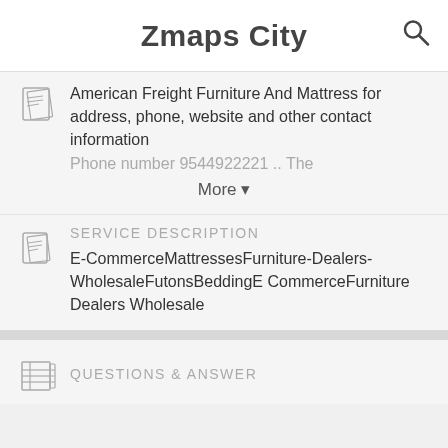Zmaps City
American Freight Furniture And Mattress for address, phone, website and other contact information
Phone number 9544922221 .. The
More ▼
SERVICE DESCRIPTION
E-CommerceMattressesFurniture-Dealers-WholesaleFutonsBeddingE CommerceFurniture Dealers Wholesale
QUESTIONS & ANSWER